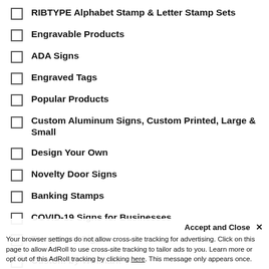RIBTYPE Alphabet Stamp & Letter Stamp Sets
Engravable Products
ADA Signs
Engraved Tags
Popular Products
Custom Aluminum Signs, Custom Printed, Large & Small
Design Your Own
Novelty Door Signs
Banking Stamps
COVID-19 Signs for Businesses
Temporary Signs
Custom by Winmark
Golf Signs
Accept and Close ✕
Your browser settings do not allow cross-site tracking for advertising. Click on this page to allow AdRoll to use cross-site tracking to tailor ads to you. Learn more or opt out of this AdRoll tracking by clicking here. This message only appears once.